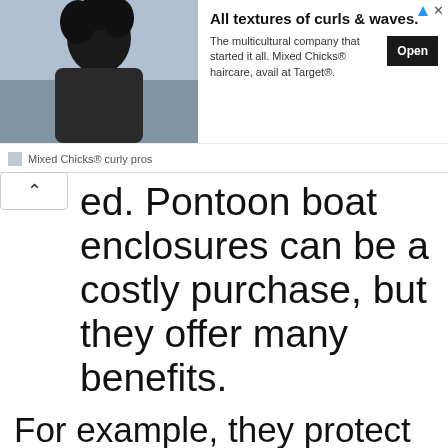[Figure (screenshot): Advertisement banner for Mixed Chicks curly pros haircare product showing a woman with curly hair, ad title 'All textures of curls & waves.', descriptive text, and an Open button.]
ed. Pontoon boat enclosures can be a costly purchase, but they offer many benefits.
For example, they protect the entire vessel from water damage by providing an extra layer of protection around the hull; they add style with various color options; they offer more